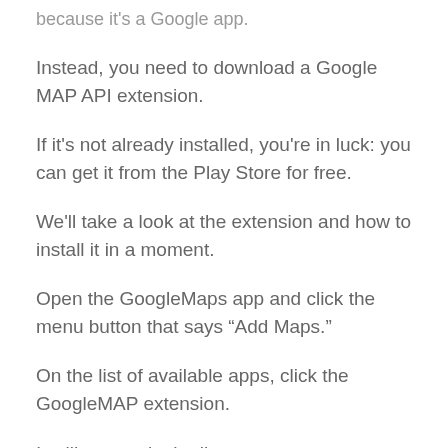because it's a Google app.
Instead, you need to download a Google MAP API extension.
If it's not already installed, you're in luck: you can get it from the Play Store for free.
We'll take a look at the extension and how to install it in a moment.
Open the GoogleMaps app and click the menu button that says “Add Maps.”
On the list of available apps, click the GoogleMAP extension.
It will appear in the list.
Once you click it, you should see a list of apps that you